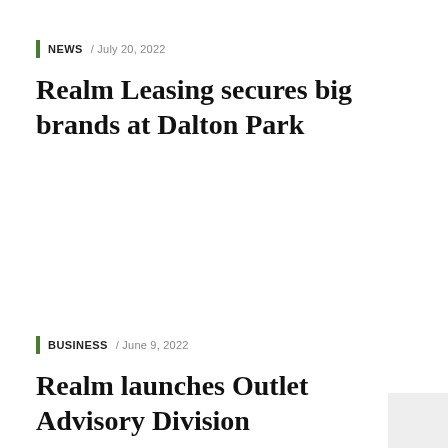NEWS / JULY 20, 2022
Realm Leasing secures big brands at Dalton Park
BUSINESS / JUNE 9, 2022
Realm launches Outlet Advisory Division